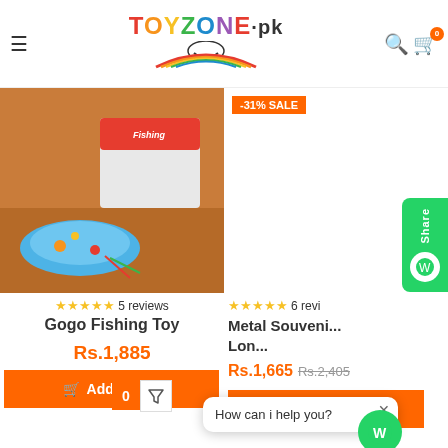ToyZone.pk
[Figure (photo): Gogo Fishing Toy product photo - blue fishing toy game with box packaging on wooden table]
[Figure (photo): Metal Souvenir London Tower Bridge miniature model on dark background, with -31% SALE badge]
★★★★★ 5 reviews
Gogo Fishing Toy
Rs.1,885
Add to cart
★★★★★ 6 revi...
Metal Souvenir Lon...
Rs.1,665 Rs.2,405
Add to cart
How can i help you?